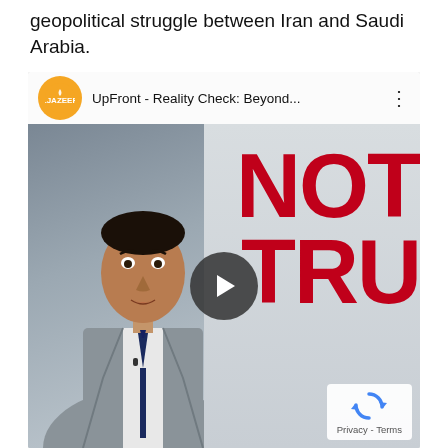geopolitical struggle between Iran and Saudi Arabia.
[Figure (screenshot): YouTube video embed thumbnail showing an Al Jazeera 'UpFront - Reality Check: Beyond...' video. A man in a grey suit and dark blue tie stands on the left side, with bold red text reading 'NOT TRU' (truncated, implying NOT TRUE) on the right side. A play button is centered on the video. Bottom-right shows a CAPTCHA/Privacy-Terms badge.]